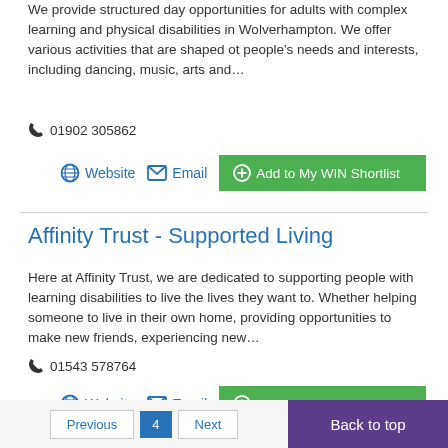We provide structured day opportunities for adults with complex learning and physical disabilities in Wolverhampton. We offer various activities that are shaped ot people's needs and interests, including dancing, music, arts and…
📞 01902 305862
Website | Email | Add to My WIN Shortlist
Affinity Trust - Supported Living
Here at Affinity Trust, we are dedicated to supporting people with learning disabilities to live the lives they want to. Whether helping someone to live in their own home, providing opportunities to make new friends, experiencing new…
📞 01543 578764
Website | Email | Add to My WIN Shortlist
Back to top
Previous | 4 | Next